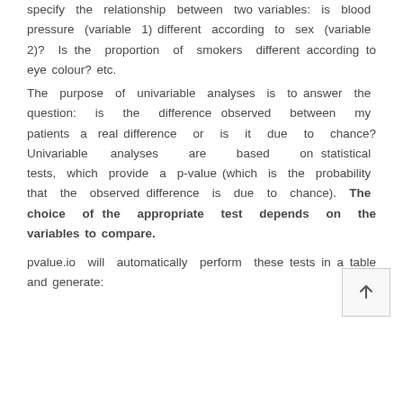specify the relationship between two variables: is blood pressure (variable 1) different according to sex (variable 2)? Is the proportion of smokers different according to eye colour? etc. The purpose of univariable analyses is to answer the question: is the difference observed between my patients a real difference or is it due to chance? Univariable analyses are based on statistical tests, which provide a p-value (which is the probability that the observed difference is due to chance). The choice of the appropriate test depends on the variables to compare.
pvalue.io will automatically perform these tests in a table and generate: